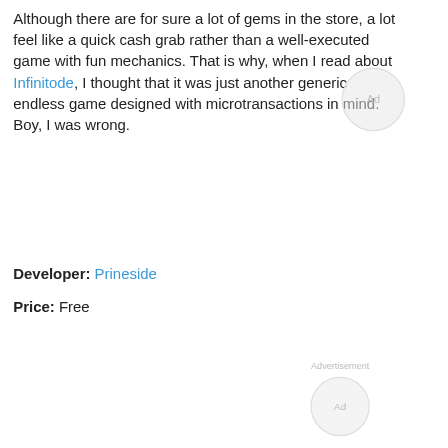Although there are for sure a lot of gems in the store, a lot feel like a quick cash grab rather than a well-executed game with fun mechanics. That is why, when I read about Infinitode, I thought that it was just another generic endless game designed with microtransactions in mind. Boy, I was wrong.
[Figure (screenshot): Ad placeholder circle with 'Ad' text, overlapping text area]
Developer: Prineside
Price: Free
[Figure (screenshot): Advertisement placeholder with 'Advertisement' label and Ad circle spinner]
[Figure (screenshot): YouTube embed showing Infinitode - infinite tower defense g... video with play button, game logo, and channel avatar]